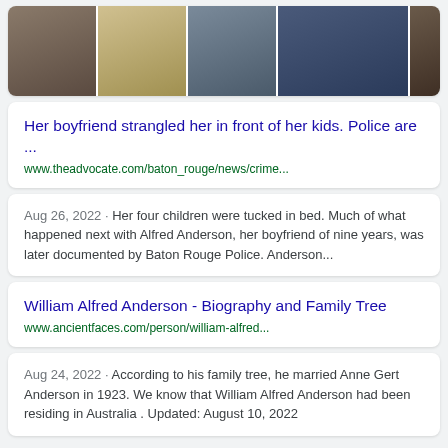[Figure (photo): Strip of photos showing elderly men, including a man with military medals and others smiling]
Her boyfriend strangled her in front of her kids. Police are ...
www.theadvocate.com/baton_rouge/news/crime...
Aug 26, 2022 · Her four children were tucked in bed. Much of what happened next with Alfred Anderson, her boyfriend of nine years, was later documented by Baton Rouge Police. Anderson...
William Alfred Anderson - Biography and Family Tree
www.ancientfaces.com/person/william-alfred...
Aug 24, 2022 · According to his family tree, he married Anne Gert Anderson in 1923. We know that William Alfred Anderson had been residing in Australia . Updated: August 10, 2022